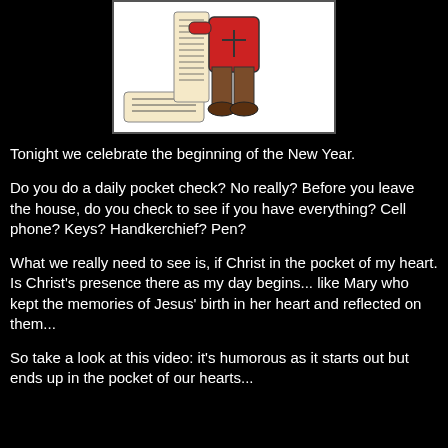[Figure (illustration): Cartoon illustration of a character in a red shirt holding a long scroll/list, shown from the waist down, on a white background with black border]
Tonight we celebrate the beginning of the New Year.
Do you do a daily pocket check? No really? Before you leave the house, do you check to see if you have everything? Cell phone? Keys? Handkerchief? Pen?
What we really need to see is, if Christ in the pocket of my heart. Is Christ's presence there as my day begins... like Mary who kept the memories of Jesus' birth in her heart and reflected on them...
So take a look at this video: it's humorous as it starts out but ends up in the pocket of our hearts...